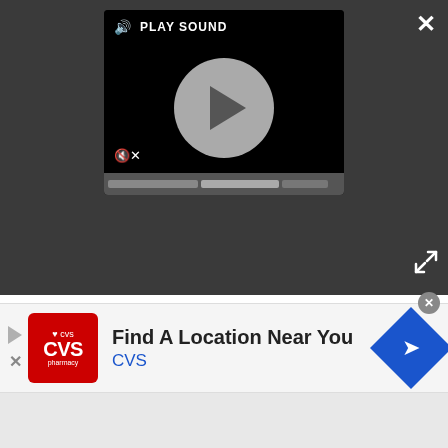[Figure (screenshot): Video player overlay with PLAY SOUND label, circular play button, mute icon, and progress bar on dark background]
unbalanced when mounted on the A7R III body, nor too lengthy. Its weight of 950g is roughly as we'd expect, being around 45g lighter than Sony's previous Sonnar T* 135mm f/1.8 ZA.
The aperture ring clicks positively when turned, and it's great to see that its click can be disabled via a switch at its side. The focus and focus-limit switches on the side are a little stiff, and somewhat flush with
[Figure (screenshot): CVS Pharmacy advertisement banner: Find A Location Near You]